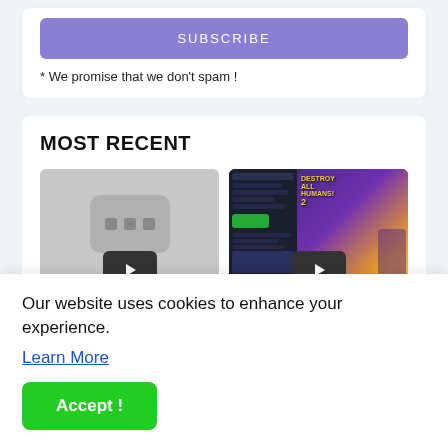SUBSCRIBE
* We promise that we don't spam !
MOST RECENT
[Figure (screenshot): Video thumbnail placeholder with three dots and a play button on dark background]
[Figure (screenshot): Screenshot of a game store page showing Destroy All Humans 2 game with a dark UI and green Buy button, with a play button overlay]
Our website uses cookies to enhance your experience.
Learn More
Accept !